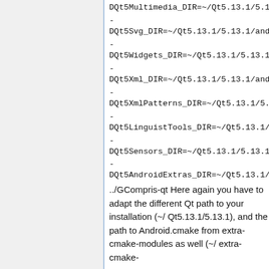DQt5Multimedia_DIR=~/Qt5.13.1/5.13.1/and...
-
DQt5Svg_DIR=~/Qt5.13.1/5.13.1/android_a...
-
DQt5Widgets_DIR=~/Qt5.13.1/5.13.1/andro...
-
DQt5Xml_DIR=~/Qt5.13.1/5.13.1/android_a...
-
DQt5XmlPatterns_DIR=~/Qt5.13.1/5.13.1/a...
-
DQt5LinguistTools_DIR=~/Qt5.13.1/5.13.1/a...
-
DQt5Sensors_DIR=~/Qt5.13.1/5.13.1/andro...
-
DQt5AndroidExtras_DIR=~/Qt5.13.1/5.13.1...
../GCompris-qt Here again you have to adapt the different Qt path to your installation (~/Qt5.13.1/5.13.1), and the path to Android.cmake from extra-cmake-modules as well (~/extra-cmake-...